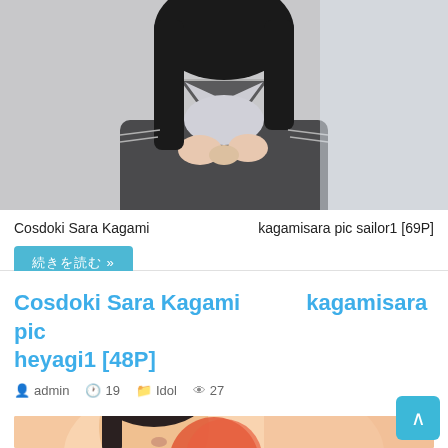[Figure (photo): Photo of person in gray school sailor uniform, adjusting collar/bow, dark hair, close-up torso and hands shot]
Cosdoki Sara Kagami　　　kagamisara pic sailor1 [69P]
続きを読む »
Cosdoki Sara Kagami　　　kagamisara pic heyagi1 [48P]
admin  19  Idol  27
[Figure (photo): Photo of smiling woman with dark hair, warm skin tones, casual setting]